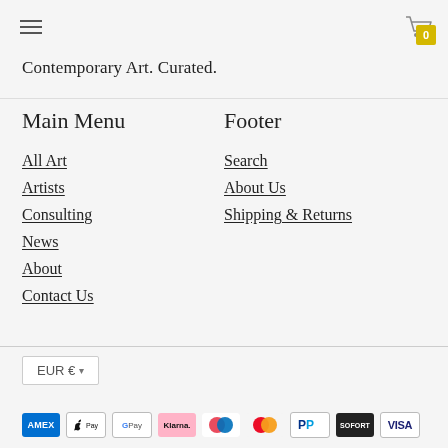≡  [cart: 0]
Contemporary Art. Curated.
Main Menu
All Art
Artists
Consulting
News
About
Contact Us
Footer
Search
About Us
Shipping & Returns
EUR € ▾
[Figure (other): Payment method logos: American Express, Apple Pay, Google Pay, Klarna, iDEAL, Mastercard, PayPal, Sofort, Visa]